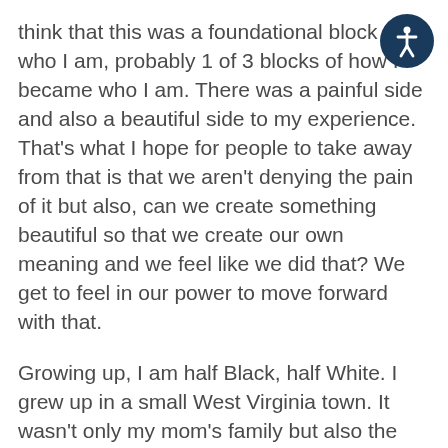think that this was a foundational block of who I am, probably 1 of 3 blocks of how I became who I am. There was a painful side and also a beautiful side to my experience. That's what I hope for people to take away from that is that we aren't denying the pain of it but also, can we create something beautiful so that we create our own meaning and we feel like we did that? We get to feel in our power to move forward with that.
Growing up, I am half Black, half White. I grew up in a small West Virginia town. It wasn't only my mom's family but also the town we were up in. It was difficult growing up there in some regards. My mom's family was adamant that she not marries a Black man but she did it anyway. Growing up especially when I was younger, there were these two pivotal moments where I was struck by how incredibly painful it can be when somebody has